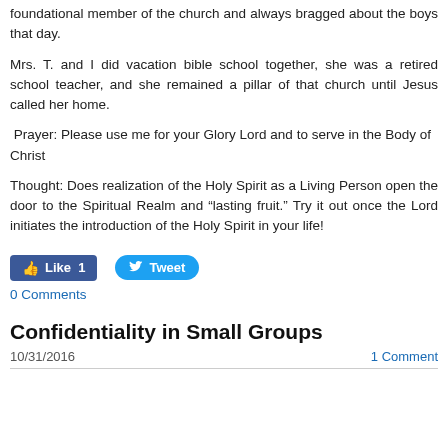foundational member of the church and always bragged about the boys that day.
Mrs. T. and I did vacation bible school together, she was a retired school teacher, and she remained a pillar of that church until Jesus called her home.
Prayer: Please use me for your Glory Lord and to serve in the Body of Christ
Thought: Does realization of the Holy Spirit as a Living Person open the door to the Spiritual Realm and “lasting fruit.” Try it out once the Lord initiates the introduction of the Holy Spirit in your life!
Like 1   Tweet
0 Comments
Confidentiality in Small Groups
10/31/2016   1 Comment